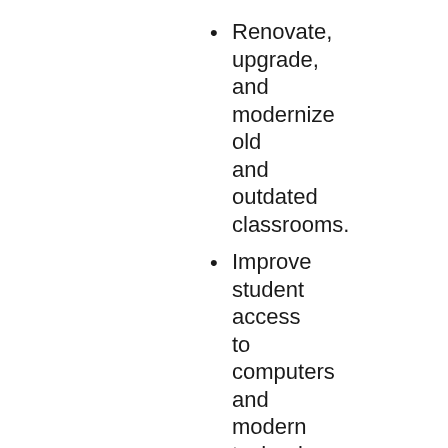Renovate, upgrade, and modernize old and outdated classrooms.
Improve student access to computers and modern technology including adding classroom visual